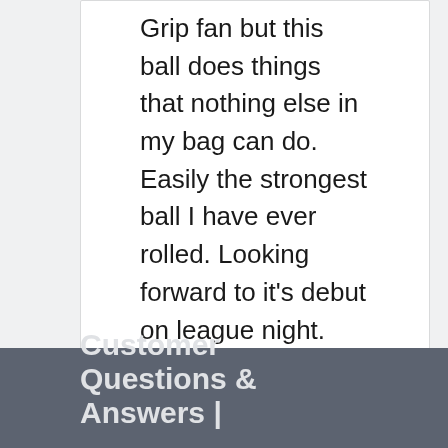Grip fan but this ball does things that nothing else in my bag can do. Easily the strongest ball I have ever rolled. Looking forward to it's debut on league night.
Back to Top
Customer Questions & Answers |